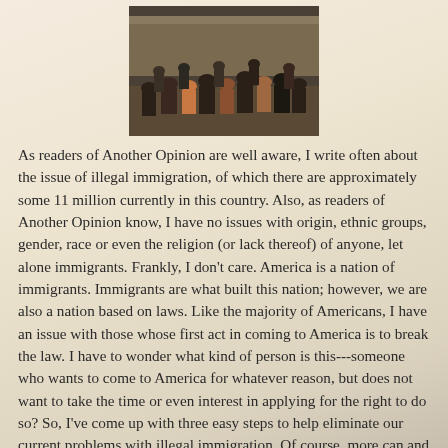[Figure (photo): A crowd of people gathered near a border wall or fence, viewed from behind, many appearing to rush or move together.]
As readers of Another Opinion are well aware, I write often about the issue of illegal immigration, of which there are approximately some 11 million currently in this country. Also, as readers of Another Opinion know, I have no issues with origin, ethnic groups, gender, race or even the religion (or lack thereof) of anyone, let alone immigrants. Frankly, I don't care. America is a nation of immigrants. Immigrants are what built this nation; however, we are also a nation based on laws. Like the majority of Americans, I have an issue with those whose first act in coming to America is to break the law. I have to wonder what kind of person is this---someone who wants to come to America for whatever reason, but does not want to take the time or even interest in applying for the right to do so? So, I've come up with three easy steps to help eliminate our current problems with illegal immigration. Of course, more can and should be done, but these are a good start.